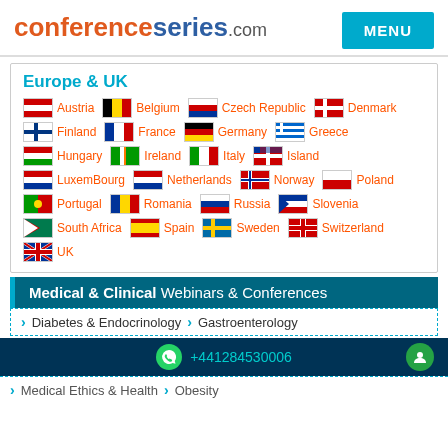conferenceseries.com MENU
Europe & UK
Austria  Belgium  Czech Republic  Denmark  Finland  France  Germany  Greece  Hungary  Ireland  Italy  Island  LuxemBourg  Netherlands  Norway  Poland  Portugal  Romania  Russia  Slovenia  South Africa  Spain  Sweden  Switzerland  UK
Medical & Clinical Webinars & Conferences
Diabetes & Endocrinology  Gastroenterology
+441284530006
Medical Ethics & Health  Obesity